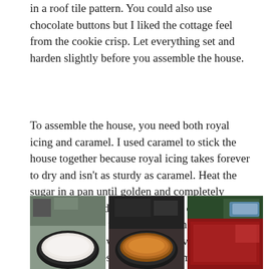in a roof tile pattern. You could also use chocolate buttons but I liked the cottage feel from the cookie crisp. Let everything set and harden slightly before you assemble the house.
To assemble the house, you need both royal icing and caramel. I used caramel to stick the house together because royal icing takes forever to dry and isn't as sturdy as caramel. Heat the sugar in a pan until golden and completely melted. You need to dip each side of the wall in caramel to make them stick together. Be VERY careful here and wear kitchen gloves or disposable gloves if you have them. The sugar will burn you if you get it on your skin. Once the caramel has hardened, you can go round the joins with royal icing to make it look like a traditional gingerbread house and cover up the dark caramel colour.
[Figure (photo): Three photos side by side: (1) white sugar in a dark pan on a stovetop, (2) caramelized golden-brown sugar in a dark pan, (3) dark red/brown sheet of gingerbread with icing sugar bag visible in background]